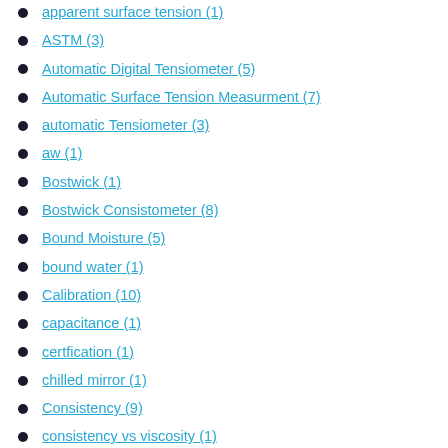apparent surface tension (1)
ASTM (3)
Automatic Digital Tensiometer (5)
Automatic Surface Tension Measurment (7)
automatic Tensiometer (3)
aw (1)
Bostwick (1)
Bostwick Consistometer (8)
Bound Moisture (5)
bound water (1)
Calibration (10)
capacitance (1)
certfication (1)
chilled mirror (1)
Consistency (9)
consistency vs viscosity (1)